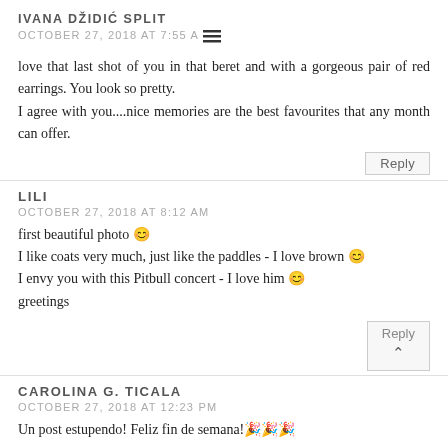IVANA DŽIDIĆ SPLIT
OCTOBER 27, 2018 AT 7:55 AM
love that last shot of you in that beret and with a gorgeous pair of red earrings. You look so pretty.
I agree with you....nice memories are the best favourites that any month can offer.
Reply
LILI
OCTOBER 27, 2018 AT 8:12 AM
first beautiful photo 😊
I like coats very much, just like the paddles - I love brown 😊
I envy you with this Pitbull concert - I love him 😊
greetings
Reply
CAROLINA G. TICALA
OCTOBER 27, 2018 AT 12:23 PM
Un post estupendo! Feliz fin de semana!🎉🎉🎉